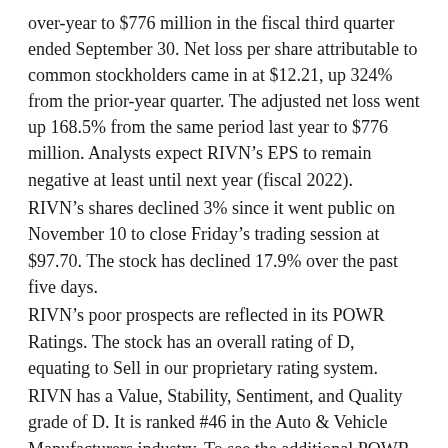over-year to $776 million in the fiscal third quarter ended September 30. Net loss per share attributable to common stockholders came in at $12.21, up 324% from the prior-year quarter. The adjusted net loss went up 168.5% from the same period last year to $776 million. Analysts expect RIVN's EPS to remain negative at least until next year (fiscal 2022).
RIVN's shares declined 3% since it went public on November 10 to close Friday's trading session at $97.70. The stock has declined 17.9% over the past five days.
RIVN's poor prospects are reflected in its POWR Ratings. The stock has an overall rating of D, equating to Sell in our proprietary rating system.
RIVN has a Value, Stability, Sentiment, and Quality grade of D. It is ranked #46 in the Auto & Vehicle Manufacturers industry. To see the additional POWR Ratings for Growth and Momentum for RIVN, click here.